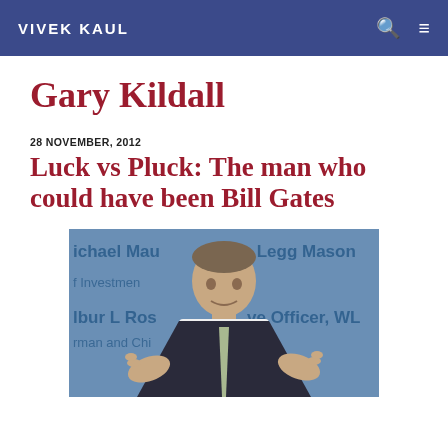VIVEK KAUL
Gary Kildall
28 NOVEMBER, 2012
Luck vs Pluck: The man who could have been Bill Gates
[Figure (photo): Man in dark suit gesturing with both hands, speaking at a conference. Background shows text including 'ichael Mau', 'gist, Legg Mason', 'Investment', 'Ibur L Ros', 've Officer, WL', 'rman and Chi']